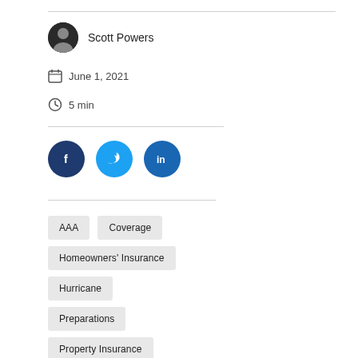Scott Powers
June 1, 2021
5 min
[Figure (other): Social share buttons: Facebook, Twitter, LinkedIn]
AAA
Coverage
Homeowners' Insurance
Hurricane
Preparations
Property Insurance
The Auto Club Group